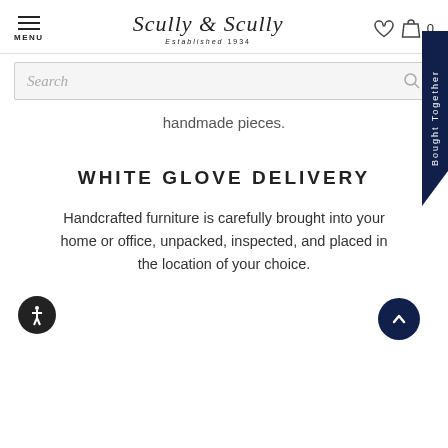MENU | Scully & Scully Established 1934 | [heart icon] [bag icon] 0
Search
handmade pieces.
WHITE GLOVE DELIVERY
Handcrafted furniture is carefully brought into your home or office, unpacked, inspected, and placed in the location of your choice.